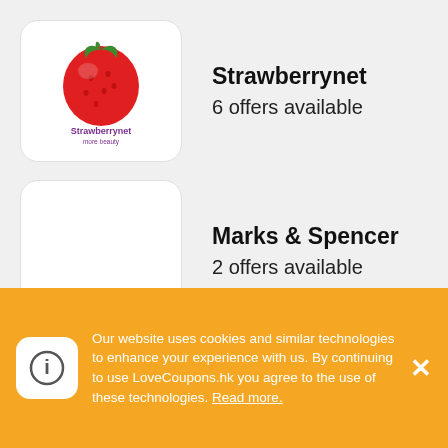Strawberrynet
6 offers available
Marks & Spencer
2 offers available
iHerb
26 offers available
MATCHESFASHION
Our website uses cookies and similar technologies to enhance your experience with us. By continuing to use LoveCoupons.hk you agree to the use of these technologies. Read more.